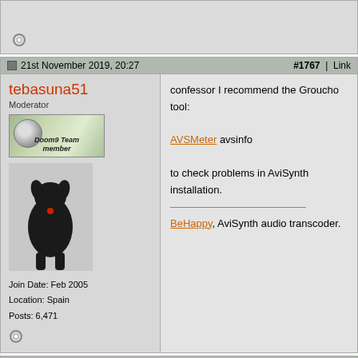[Figure (screenshot): Top partial forum post showing online status icon, cut off at top]
21st November 2019, 20:27  #1767 | Link
tebasuna51
Moderator
Join Date: Feb 2005
Location: Spain
Posts: 6,471
confessor I recommend the Groucho tool:
AVSMeter avsinfo
to check problems in AviSynth installation.
BeHappy, AviSynth audio transcoder.
21st November 2019, 20:34  #1768 | Link
Groucho2004
Join Date: Mar 2006
Location: Barcelona
Posts: 5,034
Quote:
Originally Posted by tebasuna51
confessor I recommend the Groucho tool: